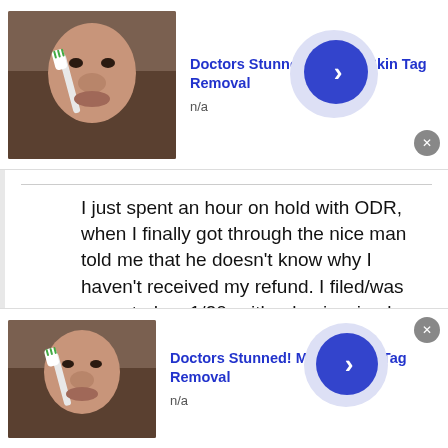[Figure (screenshot): Ad banner: photo of person's face with toothbrush, 'Doctors Stunned! Mole & Skin Tag Removal', n/a, blue arrow button, close X button]
I just spent an hour on hold with ODR, when I finally got through the nice man told me that he doesn't know why I haven't received my refund. I filed/was accepted on 1/20, with a basic, simple tax refund/situation. I received my federal refund weeks ago. I am not under review. He said I am still processing, but also said refunds are issued typically in 15 working days for situations like mine, but you can expect up to 4 months extra if you have a
[Figure (screenshot): Ad banner (bottom): photo of person's face with toothbrush, 'Doctors Stunned! Mole & Skin Tag Removal', n/a, blue arrow button, close X button]